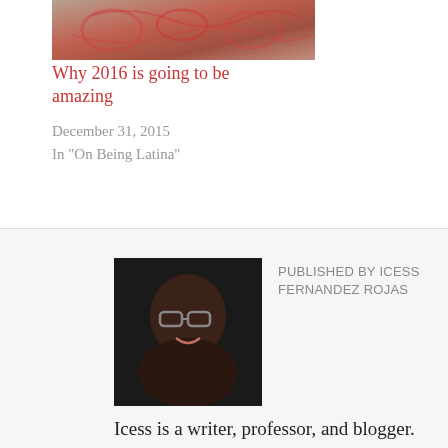[Figure (photo): Thumbnail image with decorative reddish pattern, cropped from article]
Why 2016 is going to be amazing
December 31, 2015
In "On Being Latina"
[Figure (photo): Headshot photo of Icess Fernandez Rojas, a woman with glasses smiling, dark background]
PUBLISHED BY ICESS FERNANDEZ ROJAS
Icess is a writer, professor, and blogger. She is a graduate of Goddard College's MFA program. Her work has been published in Rabble Lit, Minerva Rising Literary Journal, and the Feminine Collective's anthology